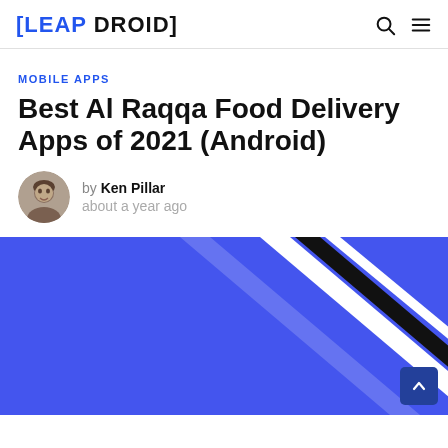[LEAP DROID]
MOBILE APPS
Best Al Raqqa Food Delivery Apps of 2021 (Android)
by Ken Pillar
about a year ago
[Figure (illustration): Hero image with blue background and diagonal black and white stripes]